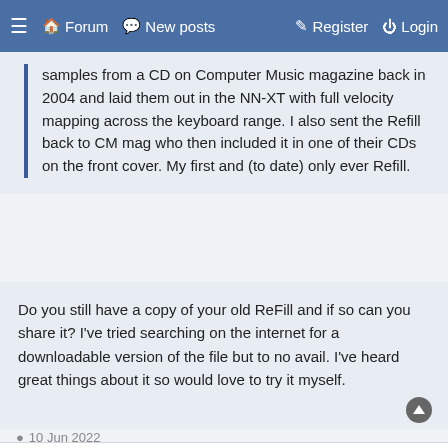≡  🏠 Forum  💬 New posts  ✎ Register  ⏻ Login
samples from a CD on Computer Music magazine back in 2004 and laid them out in the NN-XT with full velocity mapping across the keyboard range. I also sent the Refill back to CM mag who then included it in one of their CDs on the front cover. My first and (to date) only ever Refill.
Do you still have a copy of your old ReFill and if so can you share it? I've tried searching on the internet for a downloadable version of the file but to no avail. I've heard great things about it so would love to try it myself.
MrFigg
10 Jun 2022